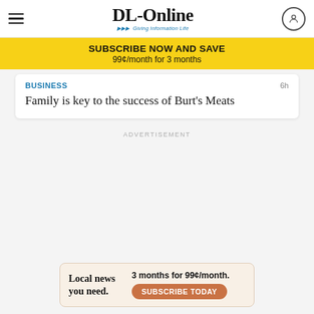DL-Online — Giving Information Life
SUBSCRIBE NOW AND SAVE
99¢/month for 3 months
BUSINESS   6h
Family is key to the success of Burt's Meats
ADVERTISEMENT
[Figure (other): Bottom advertisement banner: Local news you need. 3 months for 99¢/month. SUBSCRIBE TODAY button.]